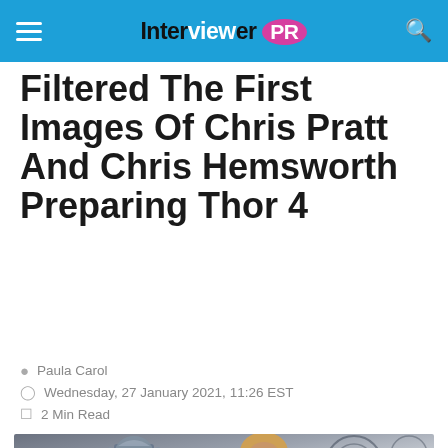Interviewer PR
Filtered The First Images Of Chris Pratt And Chris Hemsworth Preparing Thor 4
Paula Carol
Wednesday, 27 January 2021, 11:26 EST
2 Min Read
[Figure (photo): Illustration of Thor characters including armored figure and Chris Hemsworth as Thor with long blonde hair against a dramatic background]